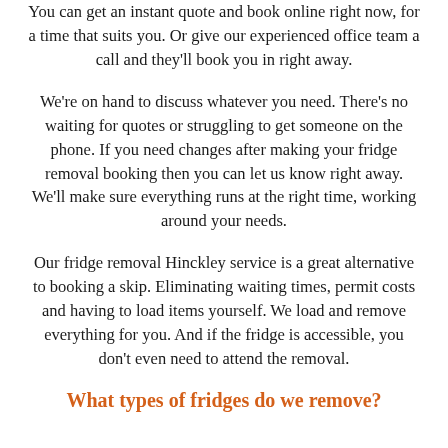You can get an instant quote and book online right now, for a time that suits you. Or give our experienced office team a call and they'll book you in right away.
We're on hand to discuss whatever you need. There's no waiting for quotes or struggling to get someone on the phone. If you need changes after making your fridge removal booking then you can let us know right away. We'll make sure everything runs at the right time, working around your needs.
Our fridge removal Hinckley service is a great alternative to booking a skip. Eliminating waiting times, permit costs and having to load items yourself. We load and remove everything for you. And if the fridge is accessible, you don't even need to attend the removal.
What types of fridges do we remove?